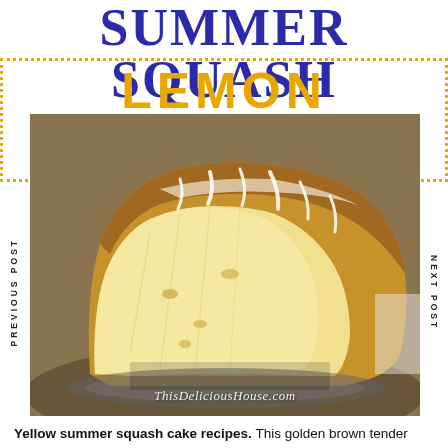Summer Squash
LEMON BREAD
[Figure (photo): Close-up photograph of a sliced loaf of lemon glazed summer squash bread on a plate, with a white icing drizzle on top, watermarked 'ThisDeliciousHouse.com']
PREVIOUS POST
NEXT POST
Yellow summer squash cake recipes. This golden brown tender